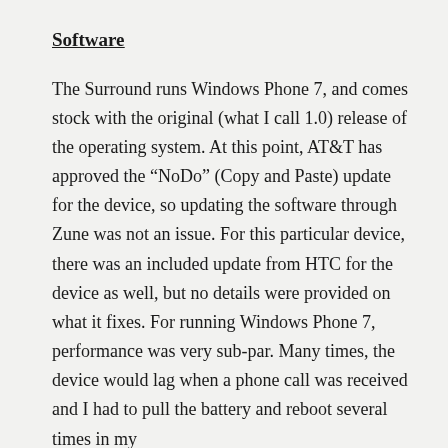Software
The Surround runs Windows Phone 7, and comes stock with the original (what I call 1.0) release of the operating system. At this point, AT&T has approved the “NoDo” (Copy and Paste) update for the device, so updating the software through Zune was not an issue. For this particular device, there was an included update from HTC for the device as well, but no details were provided on what it fixes. For running Windows Phone 7, performance was very sub-par. Many times, the device would lag when a phone call was received and I had to pull the battery and reboot several times in my